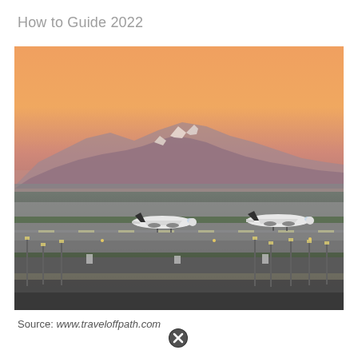How to Guide 2022
[Figure (photo): Airport runway at sunset/dusk with two commercial airplanes taxiing on the tarmac. Snow-capped mountains visible in the background under an orange-pink sky. Airport lighting poles and ground markings visible in the foreground.]
Source: www.traveloffpath.com